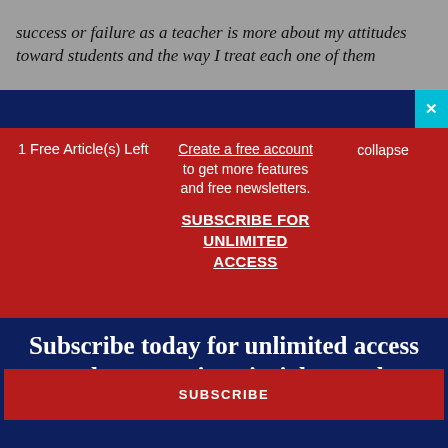success or failure as a teacher is more about my attitudes toward students and the way I treat each one of them
1 Free Article(s) Left
Create a free account to get more features and free newsletters.
SUBSCRIBE FOR UNLIMITED ACCESS
collapse
Subscribe today for unlimited access to best practices, insights, and solutions.
SUBSCRIBE